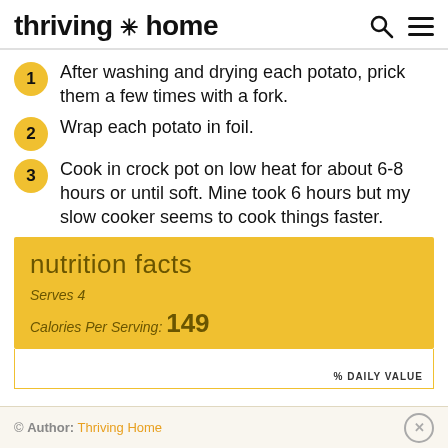thriving * home
1 After washing and drying each potato, prick them a few times with a fork.
2 Wrap each potato in foil.
3 Cook in crock pot on low heat for about 6-8 hours or until soft. Mine took 6 hours but my slow cooker seems to cook things faster.
nutrition facts
Serves 4
Calories Per Serving: 149
% DAILY VALUE
© Author: Thriving Home